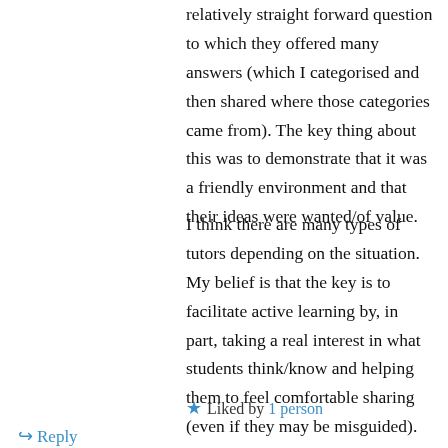relatively straight forward question to which they offered many answers (which I categorised and then shared where those categories came from). The key thing about this was to demonstrate that it was a friendly environment and that their ideas were wanted/of value.
I think there are many types of tutors depending on the situation. My belief is that the key is to facilitate active learning by, in part, taking a real interest in what students think/know and helping them to feel comfortable sharing (even if they may be misguided).
★ Liked by 1 person
↳ Reply